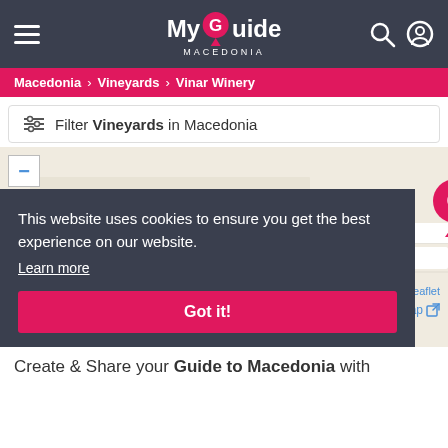My Guide Macedonia
Macedonia > Vineyards > Vinar Winery
Filter Vineyards in Macedonia
[Figure (map): Street map showing a location pin with a stylized G marker (MyGuide logo) in a light beige street map. A minus/zoom button is in the top left. Cyrillic street labels visible. Leaflet attribution and View Larger Map link in bottom right.]
This website uses cookies to ensure you get the best experience on our website.
Learn more
Got it!
Create & Share your Guide to Macedonia with